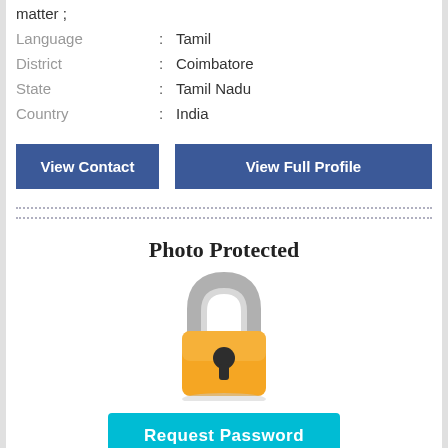matter ;
Language : Tamil
District : Coimbatore
State : Tamil Nadu
Country : India
View Contact | View Full Profile
[Figure (illustration): Photo Protected section with a padlock icon, a cyan 'Request Password' button, and text 'Please login / register to view female photos']